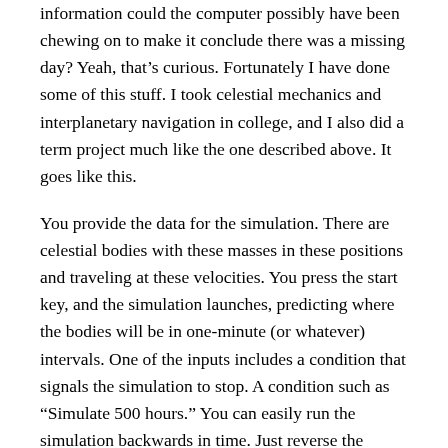information could the computer possibly have been chewing on to make it conclude there was a missing day? Yeah, that's curious. Fortunately I have done some of this stuff. I took celestial mechanics and interplanetary navigation in college, and I also did a term project much like the one described above. It goes like this.
You provide the data for the simulation. There are celestial bodies with these masses in these positions and traveling at these velocities. You press the start key, and the simulation launches, predicting where the bodies will be in one-minute (or whatever) intervals. One of the inputs includes a condition that signals the simulation to stop. A condition such as “Simulate 500 hours.” You can easily run the simulation backwards in time. Just reverse the velocities of all the bodies and hit the start key. The simulation will tell you where the bodies were in the past. That is what the NASA simulation must have been doing. And NASA and astronomers and curious amateurs like me do this sort of thing. For one thing, you might want to know where the moon’s shadow crossed the Earth’s